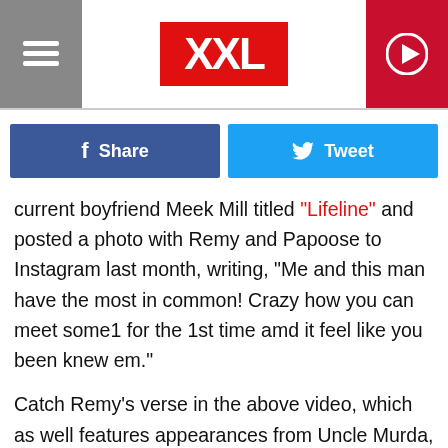XXL
Share   Tweet
current boyfriend Meek Mill titled "Lifeline" and posted a photo with Remy and Papoose to Instagram last month, writing, "Me and this man have the most in common! Crazy how you can meet some1 for the 1st time amd it feel like you been knew em."
Catch Remy's verse in the above video, which as well features appearances from Uncle Murda, Young M.A. and Maino. Remy and Fat Joe are dropping their Plata o Plomo album on Feb. 10 and are nominated for two Grammys for their hit "All the Way Up."
XXL has reached out to Remy's team for comment on the